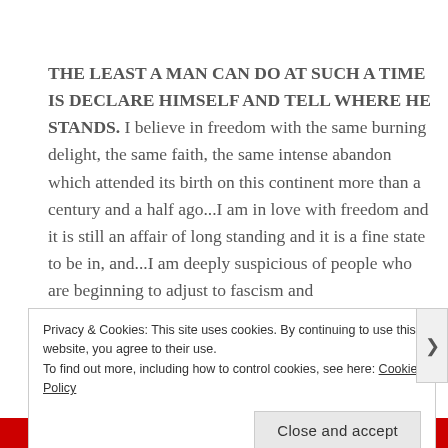THE LEAST A MAN CAN DO AT SUCH A TIME IS DECLARE HIMSELF AND TELL WHERE HE STANDS. I believe in freedom with the same burning delight, the same faith, the same intense abandon which attended its birth on this continent more than a century and a half ago...I am in love with freedom and it is still an affair of long standing and it is a fine state to be in, and...I am deeply suspicious of people who are beginning to adjust to fascism and
Privacy & Cookies: This site uses cookies. By continuing to use this website, you agree to their use.
To find out more, including how to control cookies, see here: Cookie Policy
Close and accept